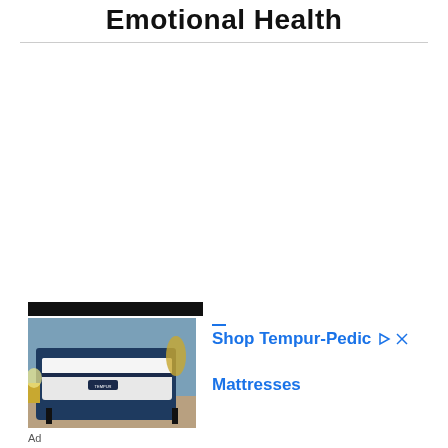Emotional Health
[Figure (photo): Advertisement for Tempur-Pedic Mattresses showing a mattress on a dark blue bed frame in a bedroom setting]
Shop Tempur-Pedic Mattresses
Ad